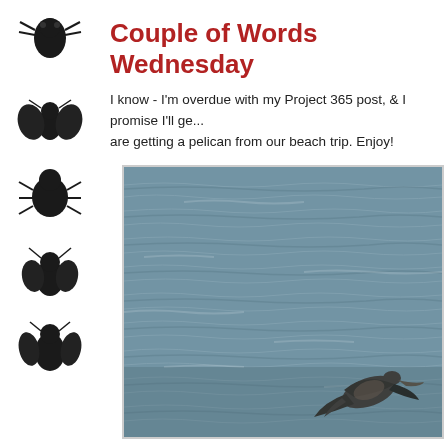[Figure (illustration): Sidebar with repeating black bug/insect silhouette icons on white background]
Couple of Words Wednesday
I know - I'm overdue with my Project 365 post, & I promise I'll ge... are getting a pelican from our beach trip. Enjoy!
[Figure (photo): Photograph of a pelican flying low over choppy ocean water, seen from the side. The bird appears in the lower right of the frame with wings spread. The water is grey-blue and textured with waves.]